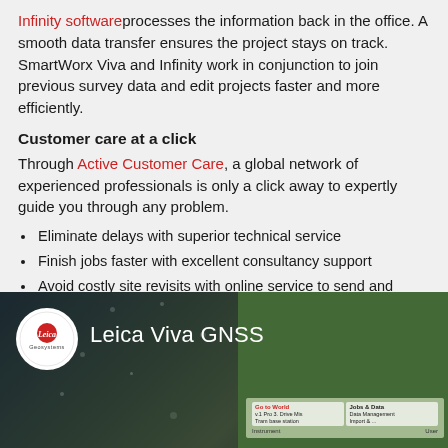Infinity software processes the information back in the office. A smooth data transfer ensures the project stays on track. SmartWorx Viva and Infinity work in conjunction to join previous survey data and edit projects faster and more efficiently.
Customer care at a click
Through Active Customer Care, a global network of experienced professionals is only a click away to expertly guide you through any problem.
Eliminate delays with superior technical service
Finish jobs faster with excellent consultancy support
Avoid costly site revisits with online service to send and receive data directly from the field
[Figure (photo): Leica Viva GNSS promotional image showing the Leica Geosystems logo in a white circle, text 'Leica Viva GNSS', and a device screen interface, with a dark snowy/bokeh background]